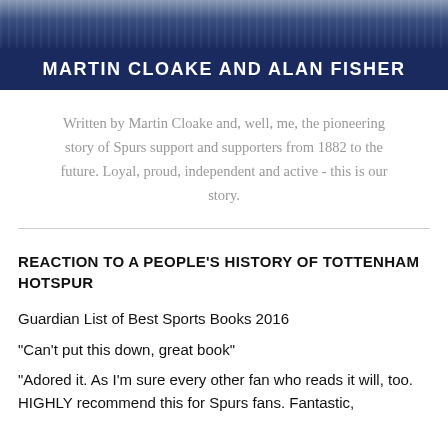[Figure (illustration): Book cover banner with dark navy background showing 'MARTIN CLOAKE AND ALAN FISHER' text in white bold uppercase letters, with a decorative image at the top]
Written by Martin Cloake and, well, me, the pioneering story of Spurs support and supporters from 1882 to the future. Loyal, proud, independent and active - this is our story.
REACTION TO A PEOPLE'S HISTORY OF TOTTENHAM HOTSPUR
Guardian List of Best Sports Books 2016
"Can't put this down, great book"
"Adored it. As I'm sure every other fan who reads it will, too. HIGHLY recommend this for Spurs fans. Fantastic,